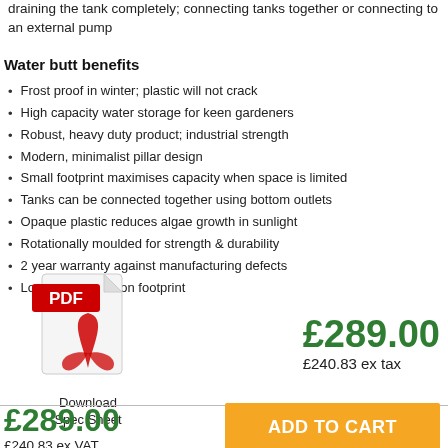draining the tank completely; connecting tanks together or connecting to an external pump
Water butt benefits
Frost proof in winter; plastic will not crack
High capacity water storage for keen gardeners
Robust, heavy duty product; industrial strength
Modern, minimalist pillar design
Small footprint maximises capacity when space is limited
Tanks can be connected together using bottom outlets
Opaque plastic reduces algae growth in sunlight
Rotationally moulded for strength & durability
2 year warranty against manufacturing defects
Lowers your carbon footprint
[Figure (logo): Adobe PDF icon with 'Download Spec Sheet' text below]
£289.00
£240.83 ex tax
£289.00
£240.83 ex VAT
ADD TO CART